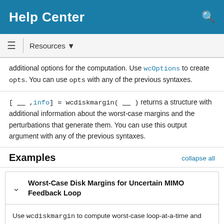Help Center
additional options for the computation. Use wcOptions to create opts. You can use opts with any of the previous syntaxes.
[ __ ,info] = wcdiskmargin( __ ) returns a structure with additional information about the worst-case margins and the perturbations that generate them. You can use this output argument with any of the previous syntaxes.
Examples
Worst-Case Disk Margins for Uncertain MIMO Feedback Loop
Use wcdiskmargin to compute worst-case loop-at-a-time and multiloop disk margins. This example illustrates that loop-at-a-time margins can give an overly optimistic assessment of the true robustness of MIMO feedback